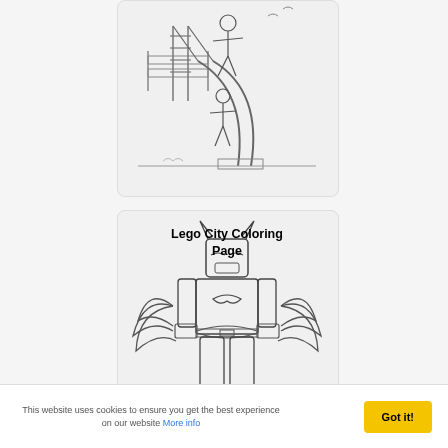[Figure (illustration): Coloring page showing children playing on a playground slide, pencil sketch style line art]
Lego City Coloring Page
[Figure (illustration): Lego City coloring page featuring a Lego Batman figure with bat wings spread, holding a weapon, in pencil sketch line art style]
This website uses cookies to ensure you get the best experience on our website More info